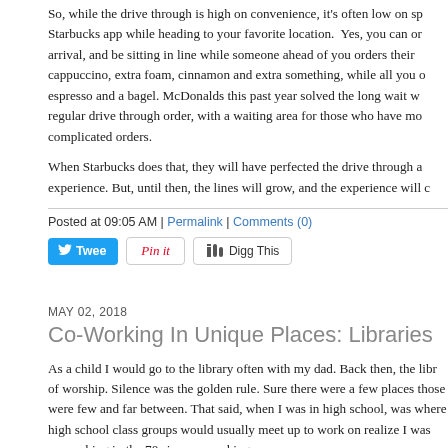So, while the drive through is high on convenience, it's often low on sp... Starbucks app while heading to your favorite location. Yes, you can or... arrival, and be sitting in line while someone ahead of you orders their ... cappuccino, extra foam, cinnamon and extra something, while all you o... espresso and a bagel. McDonalds this past year solved the long wait w... regular drive through order, with a waiting area for those who have mo... complicated orders.
When Starbucks does that, they will have perfected the drive through a... experience. But, until then, the lines will grow, and the experience will c...
Posted at 09:05 AM | Permalink | Comments (0)
[Figure (other): Social sharing buttons: Tweet (Twitter), Pin it (Pinterest), Digg This]
MAY 02, 2018
Co-Working In Unique Places: Libraries
As a child I would go to the library often with my dad. Back then, the libr... of worship. Silence was the golden rule. Sure there were a few places ... those were few and far between. That said, when I was in high school, ... was where high school class groups would usually meet up to work on ... realize I was co-working in the 70s in a co-working space.